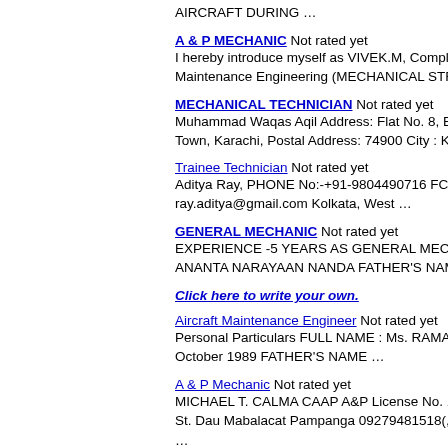AIRCRAFT DURING …
A & P MECHANIC Not rated yet
I hereby introduce myself as VIVEK.M, Complete Maintenance Engineering (MECHANICAL STRE…
MECHANICAL TECHNICIAN Not rated yet
Muhammad Waqas Aqil Address: Flat No. 8, Blo… Town, Karachi, Postal Address: 74900 City : Kara…
Trainee Technician Not rated yet
Aditya Ray, PHONE No:-+91-9804490716 FC-50 ray.aditya@gmail.com Kolkata, West …
GENERAL MECHANIC Not rated yet
EXPERIENCE -5 YEARS AS GENERAL MECHA… ANANTA NARAYAAN NANDA FATHER'S NAME…
Click here to write your own.
Aircraft Maintenance Engineer Not rated yet
Personal Particulars FULL NAME : Ms. RAMANID… October 1989 FATHER'S NAME …
A & P Mechanic Not rated yet
MICHAEL T. CALMA CAAP A&P License No. 171… St. Dau Mabalacat Pampanga 09279481518(,04…
…